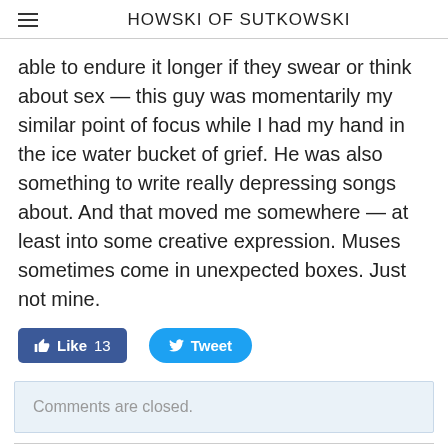HOWSKI OF SUTKOWSKI
able to endure it longer if they swear or think about sex — this guy was momentarily my similar point of focus while I had my hand in the ice water bucket of grief. He was also something to write really depressing songs about. And that moved me somewhere — at least into some creative expression. Muses sometimes come in unexpected boxes. Just not mine.
[Figure (screenshot): Social media buttons: Facebook Like button showing count 13, and Twitter Tweet button]
Comments are closed.
RSS Feed